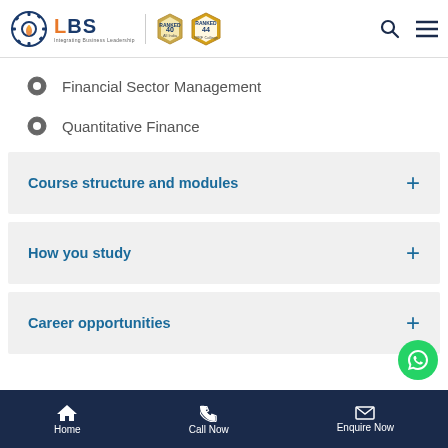LBS — Integrating Business Leadership
Financial Sector Management
Quantitative Finance
Course structure and modules
How you study
Career opportunities
Home | Call Now | Enquire Now